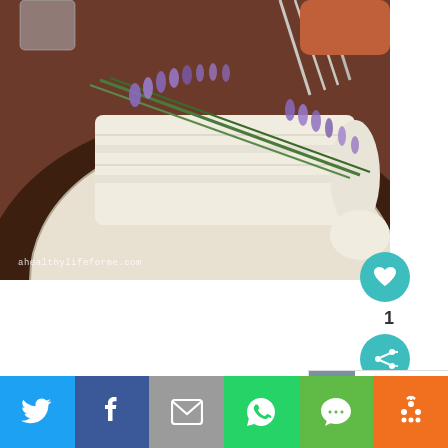[Figure (photo): Close-up photo of a table place setting with a folded white napkin on a decorative plate, with sprigs of purple lavender laid across it, cutlery visible in background, warm brown tones, watermark 'ahealthylifeforme.com' in lower left]
1
WHAT'S NEXT → Spring into Fitness Full...
[Figure (infographic): Social sharing bar with Twitter (blue), Facebook (dark blue), Email (grey), WhatsApp (green), SMS (light green), and More (orange) buttons, each with white icons]